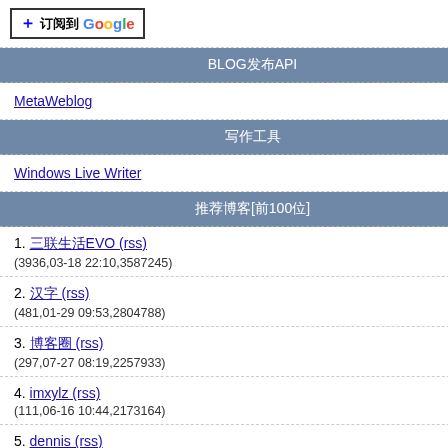[Figure (logo): Subscribe to Google button with plus icon and Google logo]
BLOG发布API
MetaWeblog
写作工具
Windows Live Writer
推荐博客[前100位]
1. 三联生活EVO (rss)
(3936,03-18 22:10,3587245)
2. 汉字 (rss)
(481,01-29 09:53,2804788)
3. 博客园 (rss)
(297,07-27 08:19,2257933)
4. imxylz (rss)
(111,06-16 10:44,2173164)
5. dennis (rss)
(559,12-10 17:39,2041108)
6. 博客四季 (rss)
(312,11-03 18:03,1948861)